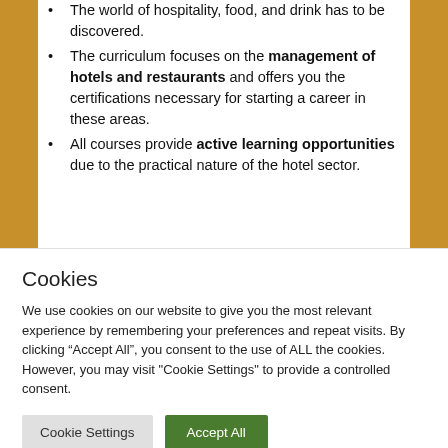The world of hospitality, food, and drink has to be discovered.
The curriculum focuses on the management of hotels and restaurants and offers you the certifications necessary for starting a career in these areas.
All courses provide active learning opportunities due to the practical nature of the hotel sector.
Cookies
We use cookies on our website to give you the most relevant experience by remembering your preferences and repeat visits. By clicking “Accept All”, you consent to the use of ALL the cookies. However, you may visit "Cookie Settings" to provide a controlled consent.